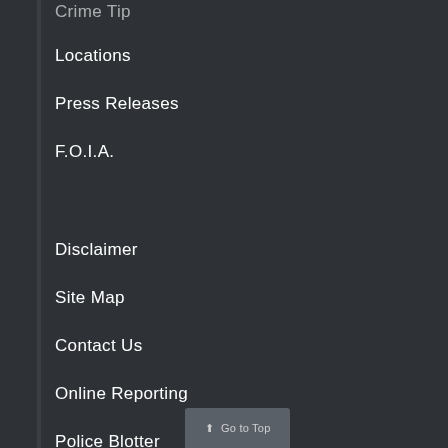Crime Tip
Locations
Press Releases
F.O.I.A.
Disclaimer
Site Map
Contact Us
Online Reporting
Police Blotter
Go to Top